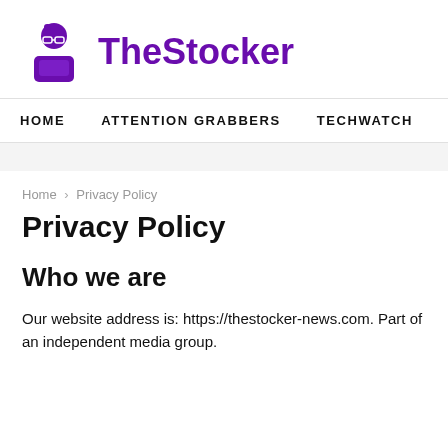[Figure (logo): TheStocker logo: purple cartoon character icon with glasses above a purple laptop/box shape, followed by bold purple text 'TheStocker']
HOME   ATTENTION GRABBERS   TECHWATCH
Home › Privacy Policy
Privacy Policy
Who we are
Our website address is: https://thestocker-news.com. Part of an independent media group.